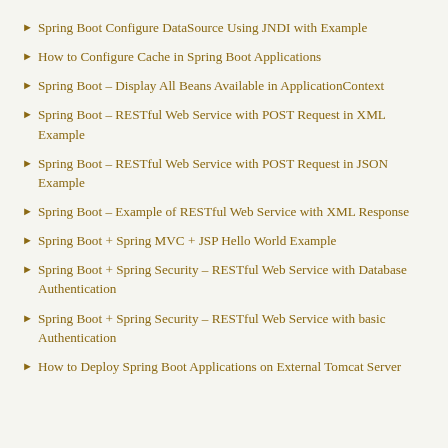Spring Boot Configure DataSource Using JNDI with Example
How to Configure Cache in Spring Boot Applications
Spring Boot – Display All Beans Available in ApplicationContext
Spring Boot – RESTful Web Service with POST Request in XML Example
Spring Boot – RESTful Web Service with POST Request in JSON Example
Spring Boot – Example of RESTful Web Service with XML Response
Spring Boot + Spring MVC + JSP Hello World Example
Spring Boot + Spring Security – RESTful Web Service with Database Authentication
Spring Boot + Spring Security – RESTful Web Service with basic Authentication
How to Deploy Spring Boot Applications on External Tomcat Server